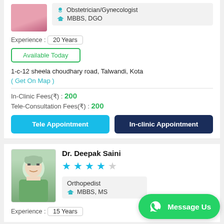Obstetrician/Gynecologist
MBBS, DGO
Experience : 20 Years
Available Today
1-c-12 sheela choudhary road, Talwandi, Kota
( Get On Map )
In-Clinic Fees(₹) : 200
Tele-Consultation Fees(₹) : 200
Tele Appointment
In-clinic Appointment
Dr. Deepak Saini
Orthopedist
MBBS, MS
Experience : 15 Years
Message Us